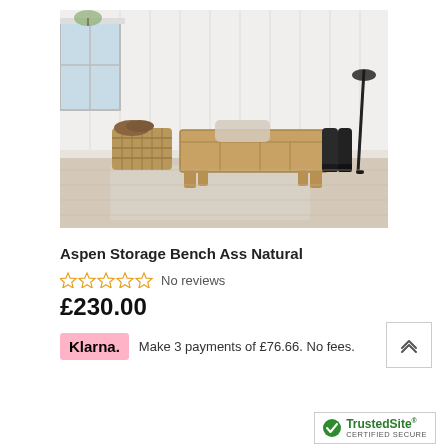[Figure (photo): A wooden storage bench (Aspen Storage Bench) in a light, airy room with white panelled walls, a basket of logs, a draped throw, a pair of black wellington boots, and a black umbrella leaning against the wall, on a light wood floor with a grey rug.]
Aspen Storage Bench Ass Natural
☆☆☆☆☆ No reviews
£230.00
Klarna. Make 3 payments of £76.66. No fees.
[Figure (logo): TrustedSite CERTIFIED SECURE badge with green checkmark]